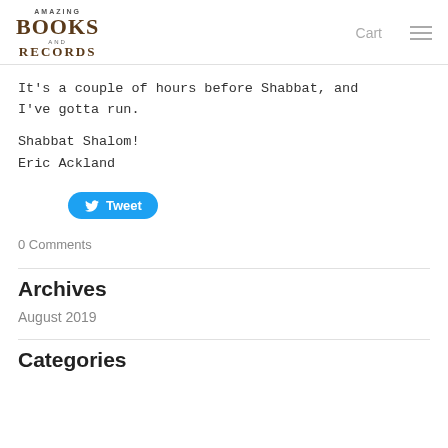Amazing Books and Records — Cart
It's a couple of hours before Shabbat, and I've gotta run.
Shabbat Shalom!
Eric Ackland
[Figure (other): Twitter Tweet button]
0 Comments
Archives
August 2019
Categories